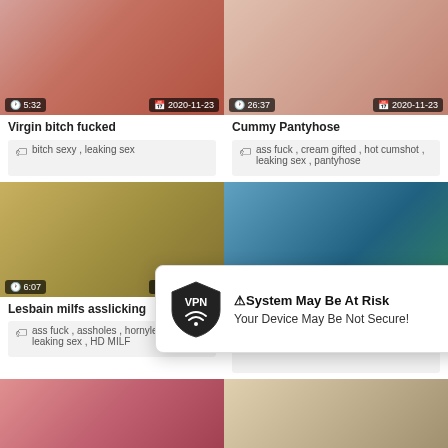[Figure (screenshot): Video thumbnail top-left with time 5:32 and date 2020-11-23]
[Figure (screenshot): Video thumbnail top-right with time 26:37 and date 2020-11-23]
Virgin bitch fucked
Cummy Pantyhose
bitch sexy, leaking sex
ass fuck, cream gifted, hot cumshot, leaking sex, pantyhose
[Figure (screenshot): Video thumbnail mid-left with time 6:07 and date 2020-11-23]
[Figure (screenshot): Video thumbnail mid-right with time 5:06 and date 2020-11-23]
Lesbain milfs asslicking
Cope dancing strip and leaking puss
ass fuck, assholes, hornylesbo, leaking sex, HD MILF
leaking sex, teased
[Figure (screenshot): Video thumbnail bottom-left partial]
[Figure (screenshot): Video thumbnail bottom-right partial]
⚠System May Be At Risk
Your Device May Be Not Secure!